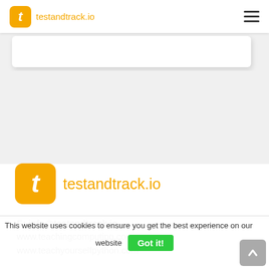testandtrack.io
[Figure (logo): testandtrack.io logo with orange rounded square icon containing white italic t, and orange text 'testandtrack.io']
E: info@testandtrack.io
www.teachingcomputing.com
www.teachyourselfpython.com
This website uses cookies to ensure you get the best experience on our website
Got it!